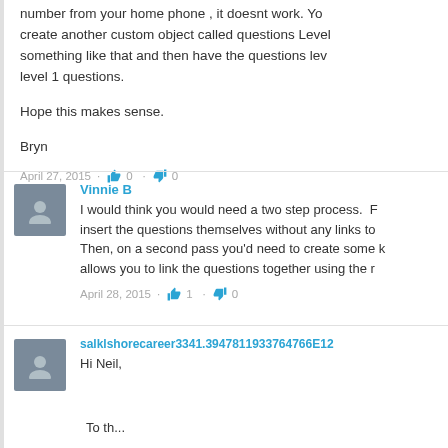number from your home phone , it doesnt work. You create another custom object called questions Level something like that and then have the questions lev level 1 questions.

Hope this makes sense.

Bryn
April 27, 2015 · 👍 0 · 👎 0
Vinnie B
I would think you would need a two step process. F insert the questions themselves without any links to Then, on a second pass you'd need to create some k allows you to link the questions together using the r
April 28, 2015 · 👍 1 · 👎 0
salklshorecareer3341.3947811933764766E12
Hi Neil,